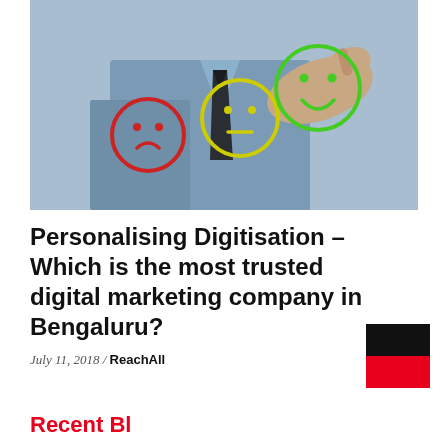[Figure (photo): A man in a blue shirt and dark tie pointing at three emoji-style feedback faces: a red sad face on the left, a yellow neutral face in the middle, and a green happy face on the right (which he is touching/selecting). The background is light blue.]
Personalising Digitisation – Which is the most trusted digital marketing company in Bengaluru?
July 11, 2018 / ReachAll
[Figure (logo): A logo consisting of a black rectangle on top and a red rectangle on the bottom, forming a two-color block mark.]
Recent Bl